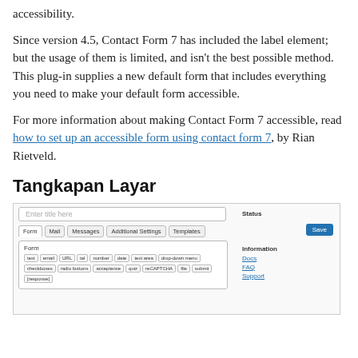accessibility.
Since version 4.5, Contact Form 7 has included the label element; but the usage of them is limited, and isn't the best possible method. This plug-in supplies a new default form that includes everything you need to make your default form accessible.
For more information about making Contact Form 7 accessible, read how to set up an accessible form using contact form 7, by Rian Rietveld.
Tangkapan Layar
[Figure (screenshot): Screenshot of WordPress Contact Form 7 plugin editor showing form tabs (Form, Mail, Messages, Additional Settings, Templates), form tag buttons, and a Status panel with Save button and Information links (Docs, FAQ, Support).]